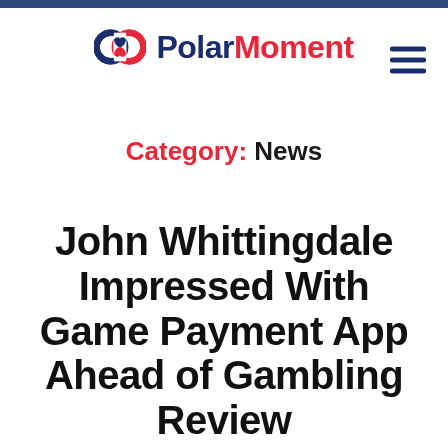[Figure (logo): PolarMoment logo with infinity-style icon in red/navy and text 'PolarMoment' with Polar in navy and Moment in red]
Category: News
John Whittingdale Impressed With Game Payment App Ahead of Gambling Review